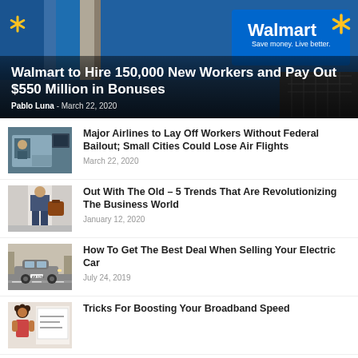[Figure (photo): Walmart store exterior showing sign with blue background and yellow spark logo]
Walmart to Hire 150,000 New Workers and Pay Out $550 Million in Bonuses
Pablo Luna - March 22, 2020
[Figure (photo): Person at a service window or counter]
Major Airlines to Lay Off Workers Without Federal Bailout; Small Cities Could Lose Air Flights
March 22, 2020
[Figure (photo): Person carrying a brown leather bag]
Out With The Old – 5 Trends That Are Revolutionizing The Business World
January 12, 2020
[Figure (photo): Electric car on a road]
How To Get The Best Deal When Selling Your Electric Car
July 24, 2019
[Figure (photo): Person with curly hair near a whiteboard]
Tricks For Boosting Your Broadband Speed